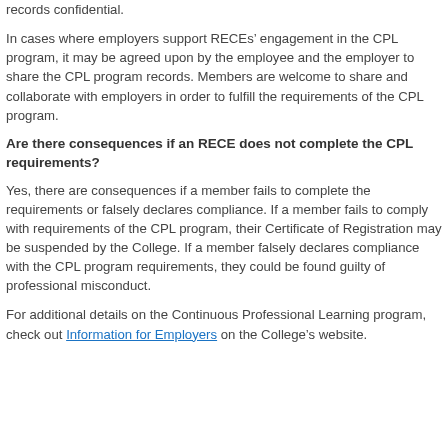records confidential.
In cases where employers support RECEs’ engagement in the CPL program, it may be agreed upon by the employee and the employer to share the CPL program records. Members are welcome to share and collaborate with employers in order to fulfill the requirements of the CPL program.
Are there consequences if an RECE does not complete the CPL requirements?
Yes, there are consequences if a member fails to complete the requirements or falsely declares compliance. If a member fails to comply with requirements of the CPL program, their Certificate of Registration may be suspended by the College. If a member falsely declares compliance with the CPL program requirements, they could be found guilty of professional misconduct.
For additional details on the Continuous Professional Learning program, check out Information for Employers on the College’s website.